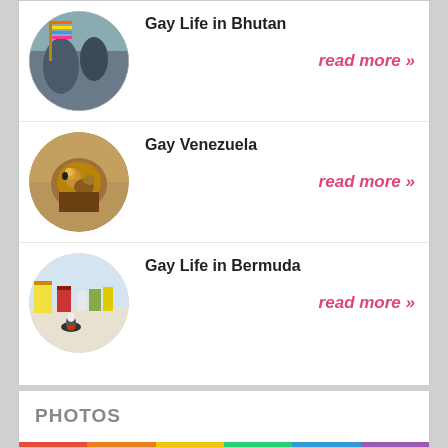Gay Life in Bhutan
read more »
Gay Venezuela
read more »
Gay Life in Bermuda
read more »
PHOTOS